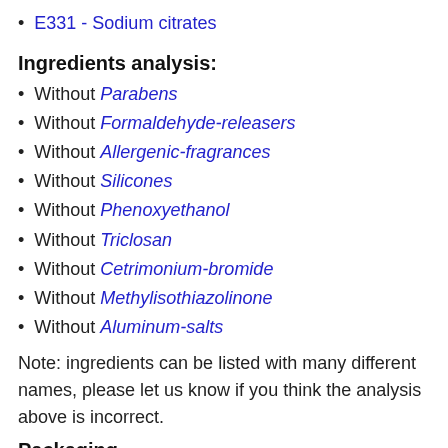E331 - Sodium citrates
Ingredients analysis:
Without Parabens
Without Formaldehyde-releasers
Without Allergenic-fragrances
Without Silicones
Without Phenoxyethanol
Without Triclosan
Without Cetrimonium-bromide
Without Methylisothiazolinone
Without Aluminum-salts
Note: ingredients can be listed with many different names, please let us know if you think the analysis above is incorrect.
Packaging